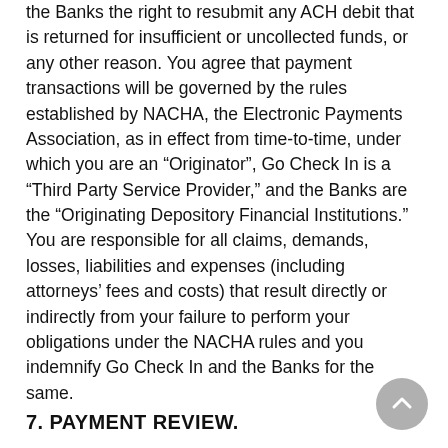the Banks the right to resubmit any ACH debit that is returned for insufficient or uncollected funds, or any other reason. You agree that payment transactions will be governed by the rules established by NACHA, the Electronic Payments Association, as in effect from time-to-time, under which you are an “Originator”, Go Check In is a “Third Party Service Provider,” and the Banks are the “Originating Depository Financial Institutions.” You are responsible for all claims, demands, losses, liabilities and expenses (including attorneys’ fees and costs) that result directly or indirectly from your failure to perform your obligations under the NACHA rules and you indemnify Go Check In and the Banks for the same.
7. PAYMENT REVIEW.